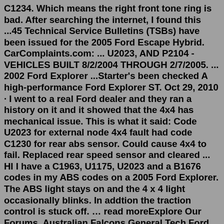C1234. Which means the right front tone ring is bad. After searching the internet, I found this ...45 Technical Service Bulletins (TSBs) have been issued for the 2005 Ford Escape Hybrid. CarComplaints.com: ... U2023, AND P2104 - VEHICLES BUILT 8/2/2004 THROUGH 2/7/2005. ... 2002 Ford Explorer ...Starter's been checked A high-performance Ford Explorer ST. Oct 29, 2010 · I went to a real Ford dealer and they ran a history on it and it showed that the 4x4 has mechanical issue. This is what it said: Code U2023 for external node 4x4 fault had code C1230 for rear abs sensor. Could cause 4x4 to fail. Replaced rear speed sensor and cleared ... HI I have a C1963, U1175, U2023 and a B1676 codes in my ABS codes on a 2005 Ford Explorer. The ABS light stays on and the 4 x 4 light occasionally blinks. In addtion the traction control is stuck off. … read moreExplore Our Forums. Australian Falcons General Tech Ford Crown Vic, Mercury Marauder, Grand Marquis. Oct 29, 2010 · I went to a real Ford dealer and they ran a history on it and it showed that the